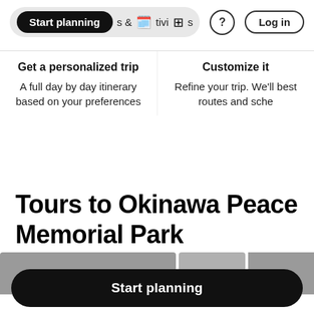[Figure (screenshot): Navigation bar with 'Start planning' pill button, 'Activities' text with icons, question mark circle icon, and 'Log in' button]
Get a personalized trip
A full day by day itinerary based on your preferences
Customize it
Refine your trip. We'll best routes and sche
Tours to Okinawa Peace Memorial Park
[Figure (photo): Partial gray image strip showing tour photos]
Start planning